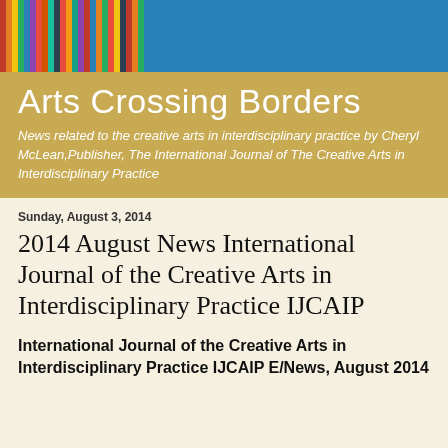[Figure (photo): Colorful book spines on library shelves]
Arts Crossing Borders
News related to the creative arts in interdisciplinary practice by Cheryl McLean,Publisher, The International Journal of The Creative Arts in Interdisciplinary Practice
Sunday, August 3, 2014
2014 August News International Journal of the Creative Arts in Interdisciplinary Practice IJCAIP
International Journal of the Creative Arts in Interdisciplinary Practice IJCAIP E/News, August 2014